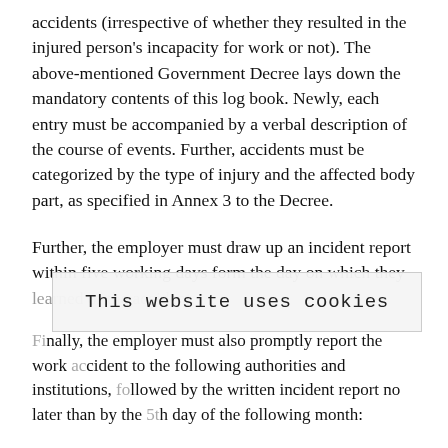accidents (irrespective of whether they resulted in the injured person's incapacity for work or not). The above-mentioned Government Decree lays down the mandatory contents of this log book. Newly, each entry must be accompanied by a verbal description of the course of events. Further, accidents must be categorized by the type of injury and the affected body part, as specified in Annex 3 to the Decree.
Further, the employer must draw up an incident report within five working days form the day on which they learned of the accident.
Finally, the employer must also promptly report the work accident to the following authorities and institutions, followed by the written incident report no later than by the 5th day of the following month:
the Czech Police, if the accident had lethal consequences,
This website uses cookies